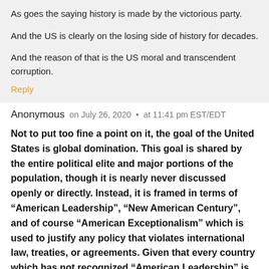As goes the saying history is made by the victorious party.

And the US is clearly on the losing side of history for decades.

And the reason of that is the US moral and transcendent corruption.
Reply
Anonymous   on July 26, 2020  •  at 11:41 pm EST/EDT
Not to put too fine a point on it, the goal of the United States is global domination. This goal is shared by the entire political elite and major portions of the population, though it is nearly never discussed openly or directly. Instead, it is framed in terms of “American Leadership”, “New American Century”, and of course “American Exceptionalism” which is used to justify any policy that violates international law, treaties, or agreements. Given that every country which has not recognized “American Leadership” is described as a “regime”, there is no indication the US elite is interested in anything resembling peaceful coexistence with other sovereign states.